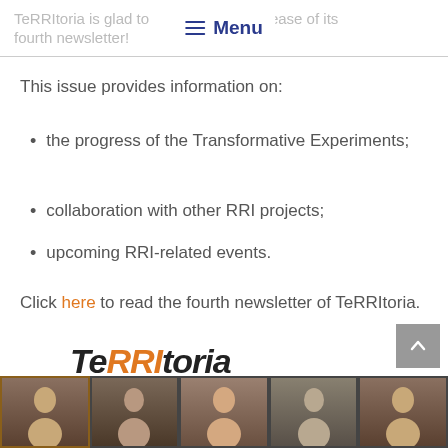TeRRItoria is glad to announce the release of its fourth newsletter! Menu
This issue provides information on:
the progress of the Transformative Experiments;
collaboration with other RRI projects;
upcoming RRI-related events.
Click here to read the fourth newsletter of TeRRItoria.
[Figure (logo): TeRRItoria logo in bold italic font with RRI in orange and remaining text in black]
[Figure (photo): Strip of five photos showing people in video conference thumbnails against dark background]